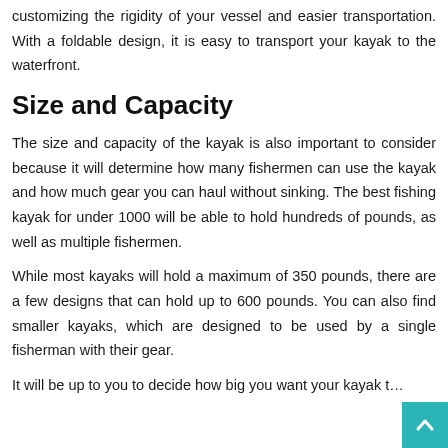customizing the rigidity of your vessel and easier transportation. With a foldable design, it is easy to transport your kayak to the waterfront.
Size and Capacity
The size and capacity of the kayak is also important to consider because it will determine how many fishermen can use the kayak and how much gear you can haul without sinking. The best fishing kayak for under 1000 will be able to hold hundreds of pounds, as well as multiple fishermen.
While most kayaks will hold a maximum of 350 pounds, there are a few designs that can hold up to 600 pounds. You can also find smaller kayaks, which are designed to be used by a single fisherman with their gear.
It will be up to you to decide how big you want your kayak t…